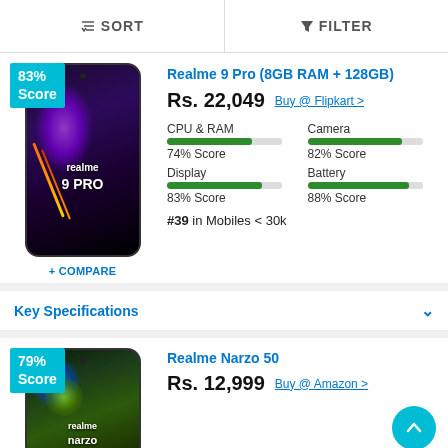SORT   FILTER
[Figure (photo): Realme 9 Pro smartphone product image with purple gradient background, 83% score badge in teal]
Realme 9 Pro (8GB RAM + 128GB)
Rs. 22,049   Buy @ Flipkart >
CPU & RAM
74% Score
Camera
82% Score
Display
83% Score
Battery
88% Score
#39 in Mobiles < 30k
+ COMPARE
Key Specifications
[Figure (photo): Realme Narzo 50 smartphone product image with green/blue gradient background, 79% score badge in teal]
Realme Narzo 50
Rs. 12,999   Buy @ Amazon >